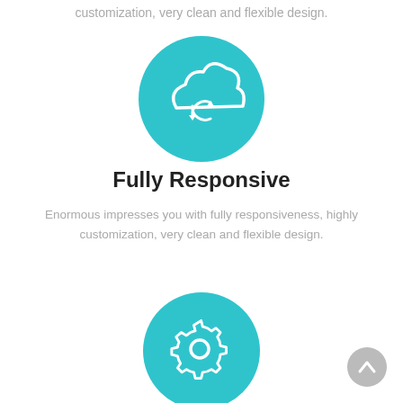customization, very clean and flexible design.
[Figure (illustration): Teal circle with a white cloud and sync/refresh arrows icon]
Fully Responsive
Enormous impresses you with fully responsiveness, highly customization, very clean and flexible design.
[Figure (illustration): Teal circle with a white gear/settings icon]
[Figure (illustration): Gray circle with a white upward chevron arrow (scroll to top button)]